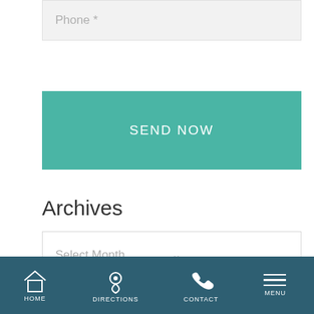Phone *
SEND NOW
Archives
Select Month
Categories
Select Category
HOME  DIRECTIONS  CONTACT  MENU